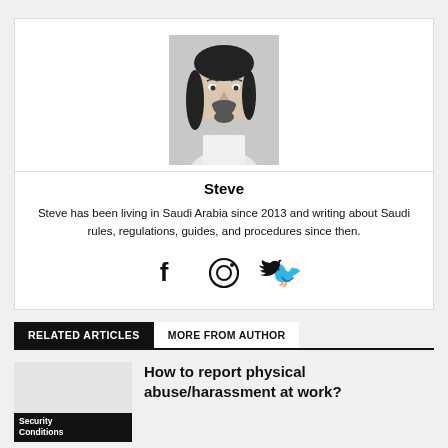[Figure (photo): Black and white headshot photo of Steve, a man with shoulder-length hair and a beard wearing a suit]
Steve
Steve has been living in Saudi Arabia since 2013 and writing about Saudi rules, regulations, guides, and procedures since then.
[Figure (infographic): Social media icons: Facebook (f), Instagram (circle with camera), Twitter (bird)]
RELATED ARTICLES   MORE FROM AUTHOR
[Figure (photo): Thumbnail placeholder image for article]
Security Conditions
How to report physical abuse/harassment at work?